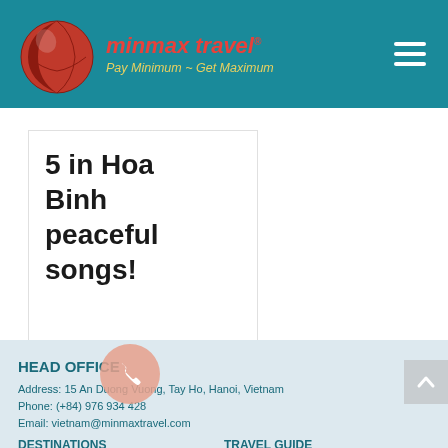minmax travel — Pay Minimum ~ Get Maximum
5 in Hoa Binh peaceful songs!
HEAD OFFICE
Address: 15 An Duong Vuong, Tay Ho, Hanoi, Vietnam
Phone: (+84) 976 934 428
Email: vietnam@minmaxtravel.com
DESTINATIONS
TRAVEL GUIDE